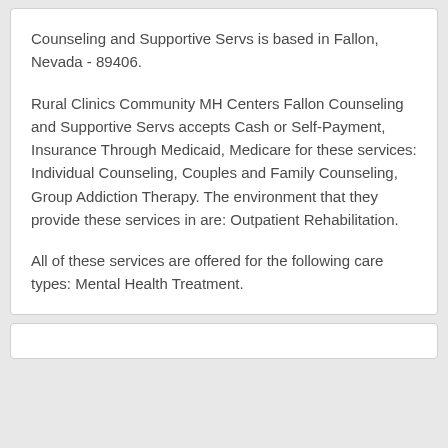Counseling and Supportive Servs is based in Fallon, Nevada - 89406.
Rural Clinics Community MH Centers Fallon Counseling and Supportive Servs accepts Cash or Self-Payment, Insurance Through Medicaid, Medicare for these services: Individual Counseling, Couples and Family Counseling, Group Addiction Therapy. The environment that they provide these services in are: Outpatient Rehabilitation.
All of these services are offered for the following care types: Mental Health Treatment.